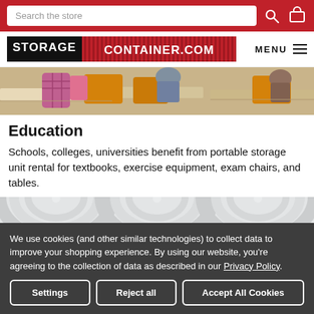Search the store
[Figure (logo): StorageContainer.com logo with black STORAGE text and red CONTAINER.COM text, MENU hamburger icon]
[Figure (photo): Classroom photo showing students at desks with yellow chairs and backpacks]
Education
Schools, colleges, universities benefit from portable storage unit rental for textbooks, exercise equipment, exam chairs, and tables.
[Figure (photo): Architecture photo showing white curved archways]
We use cookies (and other similar technologies) to collect data to improve your shopping experience. By using our website, you're agreeing to the collection of data as described in our Privacy Policy.